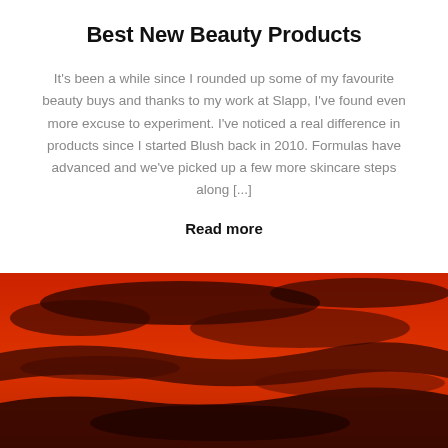Best New Beauty Products
It's been a while since I rounded up some of my favourite beauty buys and thanks to my work at Slapp, I've found even more excuse to experiment. I've noticed a real difference in products since I started Blush back in 2010. Formulas have advanced and we've picked up a few more skincare steps along [...]
Read more
[Figure (photo): Abstract red and dark reddish-brown blurred landscape or sky image, forming the bottom portion of the page.]